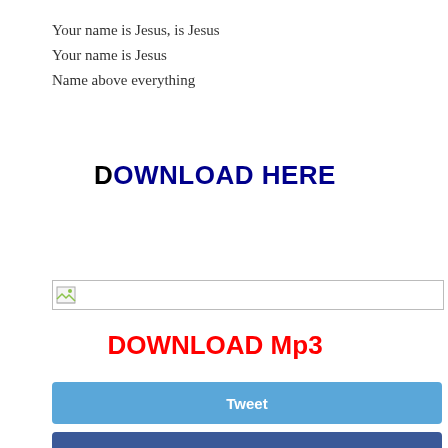Your name is Jesus, is Jesus
Your name is Jesus
Name above everything
DOWNLOAD HERE
[Figure (other): Broken image placeholder with small icon and border]
DOWNLOAD Mp3
Tweet
Share